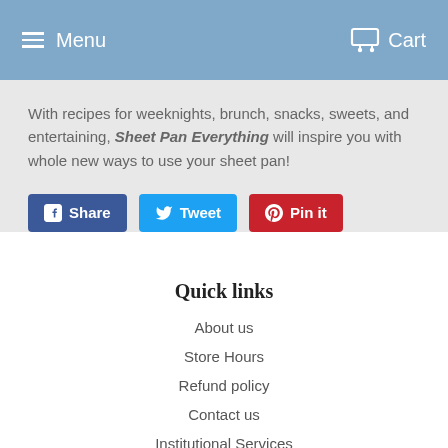Menu   Cart
With recipes for weeknights, brunch, snacks, sweets, and entertaining, Sheet Pan Everything will inspire you with whole new ways to use your sheet pan!
[Figure (other): Social sharing buttons: Share (Facebook, blue), Tweet (Twitter, cyan), Pin it (Pinterest, red)]
Quick links
About us
Store Hours
Refund policy
Contact us
Institutional Services